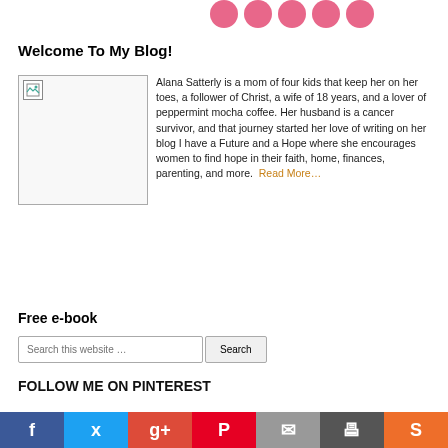[Figure (illustration): Row of five pink circles/dots decoration at top of page]
Welcome To My Blog!
[Figure (photo): Broken image placeholder (author photo) floated left, approximately 130x130px with broken image icon]
Alana Satterly is a mom of four kids that keep her on her toes, a follower of Christ, a wife of 18 years, and a lover of peppermint mocha coffee. Her husband is a cancer survivor, and that journey started her love of writing on her blog I have a Future and a Hope where she encourages women to find hope in their faith, home, finances, parenting, and more. Read More…
Free e-book
Search this website …
FOLLOW ME ON PINTEREST
[Figure (illustration): Social sharing bar at bottom with colored buttons: Facebook (blue), Twitter (light blue), Google+ (red), Pinterest (red), Email (gray), Print (dark gray), StumbleUpon (orange)]